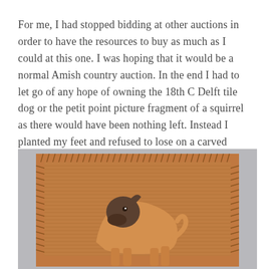For me, I had stopped bidding at other auctions in order to have the resources to buy as much as I could at this one. I was hoping that it would be a normal Amish country auction. In the end I had to let go of any hope of owning the 18th C Delft tile dog or the petit point picture fragment of a squirrel as there would have been nothing left. Instead I planted my feet and refused to lose on a carved wood walnut plaque of a dog named Tug.
[Figure (photo): A carved wood walnut plaque depicting a dog named Tug in relief. The rectangular plaque has a decorative carved border with notched/hatched edges. The dog figure is carved in relief standing profile, rendered in warm walnut tones with a darker face/muzzle area. The background of the plaque has a textured carved surface.]